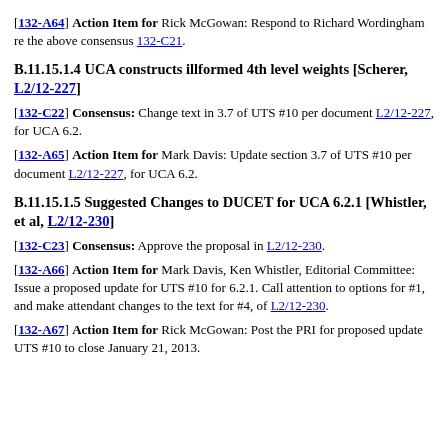[132-A64] Action Item for Rick McGowan: Respond to Richard Wordingham re the above consensus 132-C21.
B.11.15.1.4 UCA constructs illformed 4th level weights [Scherer, L2/12-227]
[132-C22] Consensus: Change text in 3.7 of UTS #10 per document L2/12-227, for UCA 6.2.
[132-A65] Action Item for Mark Davis: Update section 3.7 of UTS #10 per document L2/12-227, for UCA 6.2.
B.11.15.1.5 Suggested Changes to DUCET for UCA 6.2.1 [Whistler, et al, L2/12-230]
[132-C23] Consensus: Approve the proposal in L2/12-230.
[132-A66] Action Item for Mark Davis, Ken Whistler, Editorial Committee: Issue a proposed update for UTS #10 for 6.2.1. Call attention to options for #1, and make attendant changes to the text for #4, of L2/12-230.
[132-A67] Action Item for Rick McGowan: Post the PRI for proposed update UTS #10 to close January 21, 2013.